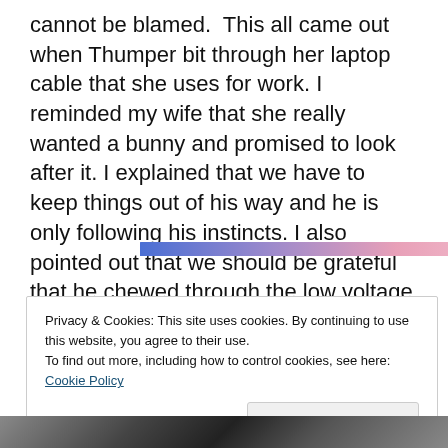cannot be blamed.  This all came out when Thumper bit through her laptop cable that she uses for work. I reminded my wife that she really wanted a bunny and promised to look after it. I explained that we have to keep things out of his way and he is only following his instincts. I also pointed out that we should be grateful that he chewed through the low voltage and not the other, high voltage, end of the cable.
[Figure (other): Horizontal gradient advertisement banner bar going from blue on the left through purple to pink on the right, with 'REPORT THIS AD' text at bottom right]
Privacy & Cookies: This site uses cookies. By continuing to use this website, you agree to their use.
To find out more, including how to control cookies, see here: Cookie Policy
[Figure (photo): Bottom edge of a photograph showing a dark scene, partially cut off at the bottom of the page]